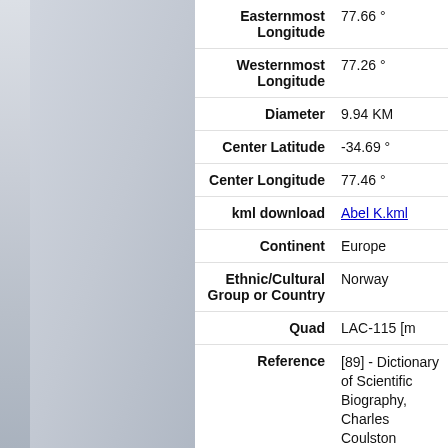[Figure (photo): Left panel showing a blue-grey textured background, partial view of a lunar or planetary surface image.]
| Field | Value |
| --- | --- |
| Easternmost Longitude | 77.66 ° |
| Westernmost Longitude | 77.26 ° |
| Diameter | 9.94 KM |
| Center Latitude | -34.69 ° |
| Center Longitude | 77.46 ° |
| kml download | Abel K.kml |
| Continent | Europe |
| Ethnic/Cultural Group or Country | Norway |
| Quad | LAC-115 [m…] |
| Reference | [89] - Dictionary of Scientific Biography, Charles Coulston Gillispie, editor in chief, volumes, Charles Scribner's Sons, New York, 1981 |
| Approval Status | Adopted by IAU |